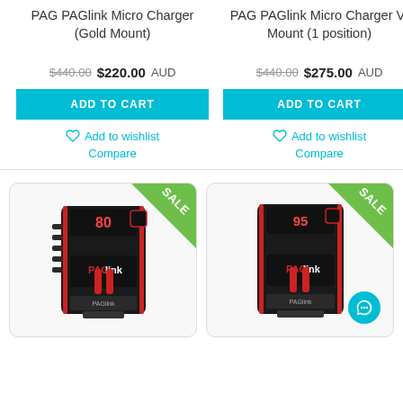PAG PAGlink Micro Charger (Gold Mount)
$440.00 $220.00 AUD
ADD TO CART
Add to wishlist
Compare
PAG PAGlink Micro Charger V-Mount (1 position)
$440.00 $275.00 AUD
ADD TO CART
Add to wishlist
Compare
[Figure (photo): PAG PAGlink battery product photo with SALE badge, left item]
[Figure (photo): PAG PAGlink battery product photo with SALE badge, right item]